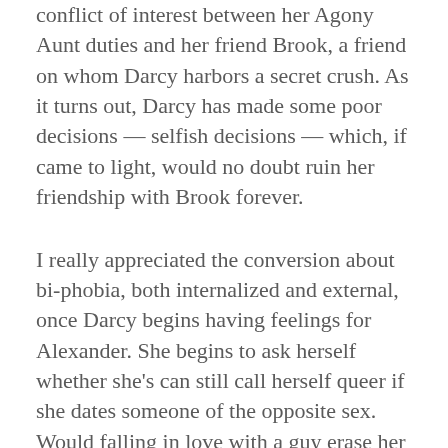conflict of interest between her Agony Aunt duties and her friend Brook, a friend on whom Darcy harbors a secret crush. As it turns out, Darcy has made some poor decisions — selfish decisions — which, if came to light, would no doubt ruin her friendship with Brook forever.
I really appreciated the conversion about bi-phobia, both internalized and external, once Darcy begins having feelings for Alexander. She begins to ask herself whether she's can still call herself queer if she dates someone of the opposite sex. Would falling in love with a guy erase her as a bisexual? Could she even call herself bisexual in such a case? There was a lot of compelling discussion around this topic in the